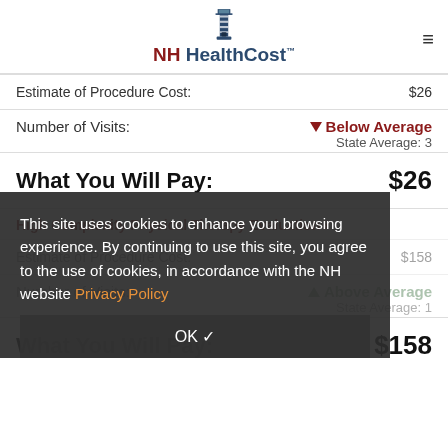NH HealthCost
Estimate of Procedure Cost: $26
Number of Visits: Below Average — State Average: 3
What You Will Pay: $26
High Complexity Physical Therapy Evaluation >
Estimate of Procedure Cost: $158
Number of Visits: Above Average — State Average: 1
What You Will Pay: $158
This site uses cookies to enhance your browsing experience. By continuing to use this site, you agree to the use of cookies, in accordance with the NH website Privacy Policy
OK ✓